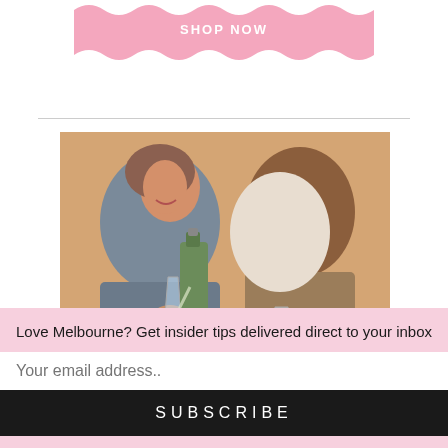[Figure (other): Pink wavy banner with 'SHOP NOW' text button at top of page]
[Figure (photo): Two women sitting together, one pouring champagne from a bottle into glasses held by both. Casual indoor setting.]
Love Melbourne? Get insider tips delivered direct to your inbox
Your email address..
SUBSCRIBE